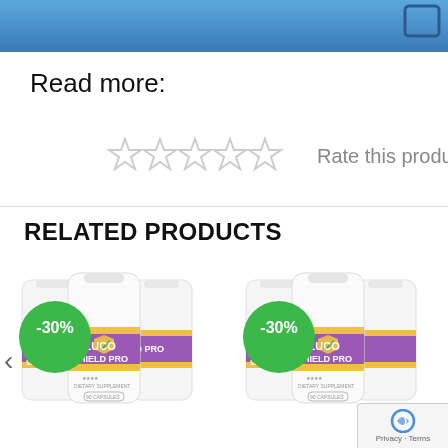[Figure (screenshot): Top portion of a blue rounded banner/header element]
Read more:
[Figure (other): Five empty star rating icons with 'Rate this product' text]
RELATED PRODUCTS
[Figure (photo): Two groups of Gluco Shield Pro supplement bottles with -30% discount badges. Left group shows 3 bottles labeled GLUCO SHIELD PRO with a -30% green badge. Right group shows 3 bottles labeled GLUCO SHIELD PRO with a -30% green badge. Navigation arrow on the left.]